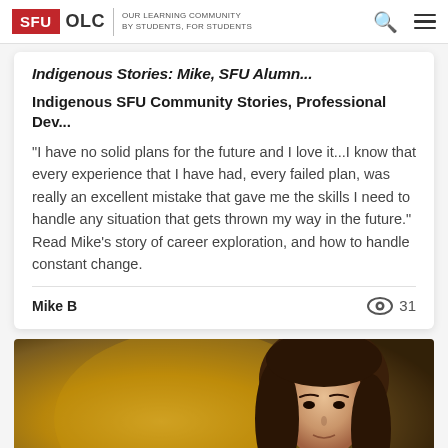SFU OLC | OUR LEARNING COMMUNITY BY STUDENTS, FOR STUDENTS
Indigenous Stories: Mike, SFU Alumn...
Indigenous SFU Community Stories, Professional Dev...
"I have no solid plans for the future and I love it...I know that every experience that I have had, every failed plan, was really an excellent mistake that gave me the skills I need to handle any situation that gets thrown my way in the future." Read Mike's story of career exploration, and how to handle constant change.
Mike B
31 views
[Figure (photo): Photo of a woman with long brown hair against a warm golden/brown background, cropped showing face and upper body turning toward camera]